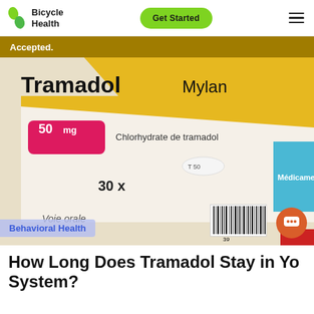Bicycle Health | Get Started
Accepted.
[Figure (photo): Close-up photo of Tramadol Mylan 50 mg medication box showing pill labeled T 50, text Chlorhydrate de tramadol, 30x, Voie orale, barcode, and partial blue Médicame label]
Behavioral Health
How Long Does Tramadol Stay in Your System?